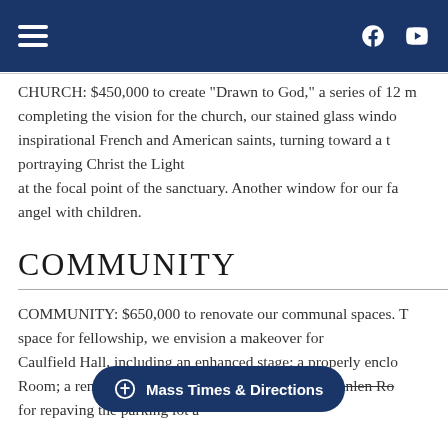Navigation header with hamburger menu, Facebook and YouTube icons
CHURCH: $450,000 to create “Drawn to God,” a series of 12 m completing the vision for the church, our stained glass windo inspirational French and American saints, turning toward a t portraying Christ the Light at the focal point of the sanctuary. Another window for our fa angel with children.
COMMUNITY
COMMUNITY: $650,000 to renovate our communal spaces. T space for fellowship, we envision a makeover for Caulfield Hall, including an enhanced stage; a properly enclo Room; a renovated kitchen; and a facelift for the Seanlen Ro for repaving the parking lot a
Mass Times & Directions